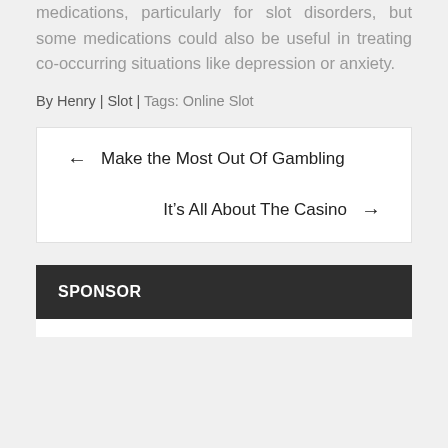medications, particularly for slot disorders, but some medications could also be useful in treating co-occurring situations like depression or anxiety.
By Henry | Slot | Tags: Online Slot
← Make the Most Out Of Gambling
It's All About The Casino →
SPONSOR